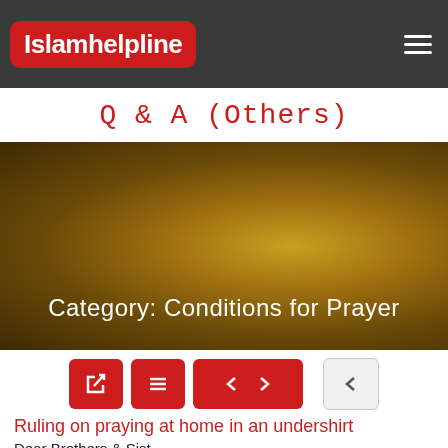Islamhelpline
Q & A (Others)
[Figure (photo): Blurred warm bokeh background in amber/brown tones with text overlay reading 'Category: Conditions for Prayer']
Category: Conditions for Prayer
Ruling on praying at home in an undershirt
Dear Brothers & Sist...